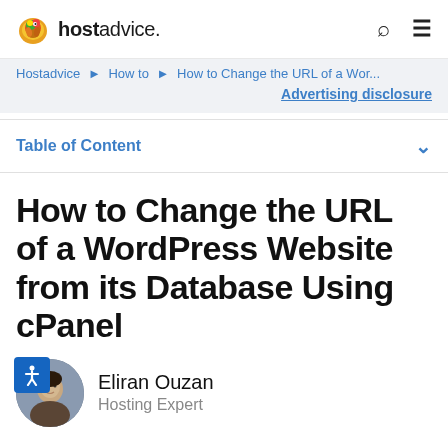hostadvice.
Hostadvice > How to > How to Change the URL of a Wor...
Advertising disclosure
Table of Content
How to Change the URL of a WordPress Website from its Database Using cPanel
Eliran Ouzan
Hosting Expert